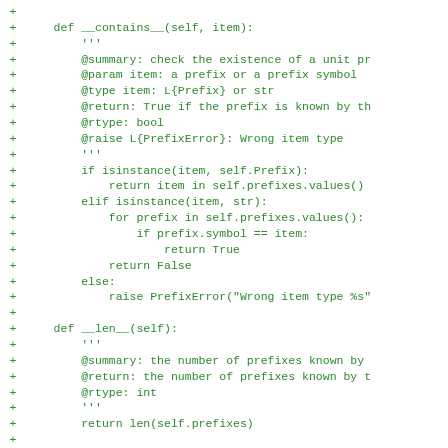[Figure (other): A code diff view showing Python source code additions (lines prefixed with '+') in green monospace font on white background. The code defines __contains__ and __len__ methods and begins a newPrefix method definition.]